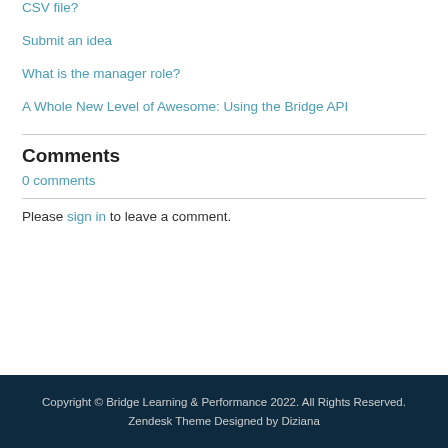CSV file?
Submit an idea
What is the manager role?
A Whole New Level of Awesome: Using the Bridge API
Comments
0 comments
Please sign in to leave a comment.
Copyright © Bridge Learning & Performance 2022. All Rights Reserved. Zendesk Theme Designed by Diziana